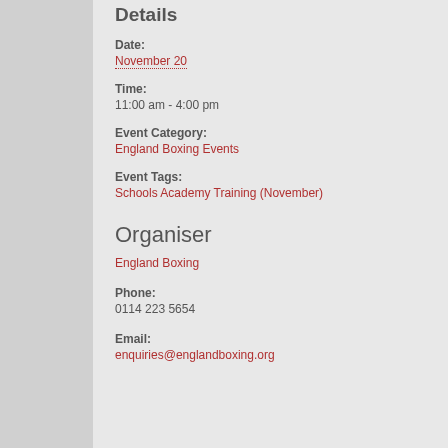Details
Date:
November 20
Time:
11:00 am - 4:00 pm
Event Category:
England Boxing Events
Event Tags:
Schools Academy Training (November)
Organiser
England Boxing
Phone:
0114 223 5654
Email:
enquiries@englandboxing.org